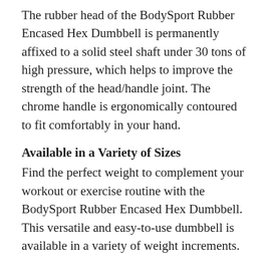The rubber head of the BodySport Rubber Encased Hex Dumbbell is permanently affixed to a solid steel shaft under 30 tons of high pressure, which helps to improve the strength of the head/handle joint. The chrome handle is ergonomically contoured to fit comfortably in your hand.
Available in a Variety of Sizes
Find the perfect weight to complement your workout or exercise routine with the BodySport Rubber Encased Hex Dumbbell. This versatile and easy-to-use dumbbell is available in a variety of weight increments.
Use This Dumbbell Wherever You Go
No matter where you workout, you can rest